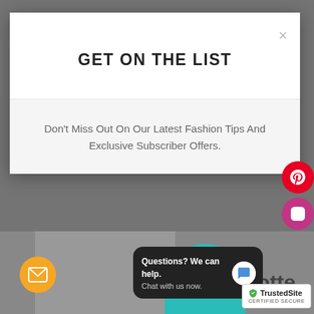[Figure (screenshot): Website background showing a fashion blog page with social media icons, email subscription input, social sharing circles, bottom image strip with teal shape and 'Hotte' text]
GET ON THE LIST
Don't Miss Out On Our Latest Fashion Tips And Exclusive Subscriber Offers.
[Figure (screenshot): Right side floating social media buttons: Pinterest (red), Instagram (pink/purple), Facebook (blue), Twitter (light blue)]
and special promotions.
your-email@example.com
[Figure (infographic): Row of social media icon circles: Twitter, Facebook, Pinterest, Google+, Instagram, Tumblr, YouTube, Vimeo]
[Figure (photo): Bottom section showing books, yellow flowers, teal shape]
Questions? We can help.
Chat with us now.
[Figure (logo): TrustedSite CERTIFIED SECURE badge]